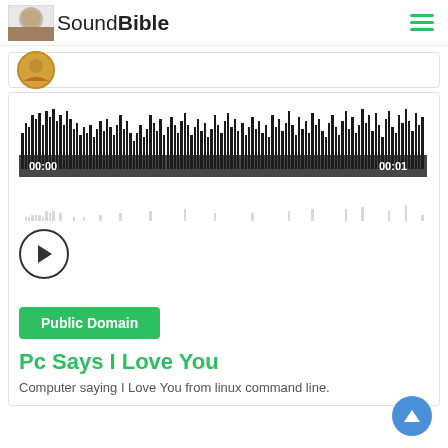SoundBible
[Figure (screenshot): Partial audio card with circular avatar thumbnail showing a person]
[Figure (continuous-plot): Audio waveform visualization showing black bars/spikes of varying heights representing a 1-second audio clip, with timestamps 00:00 on left and 00:01 on right, and a faded reflection below]
[Figure (other): Circular play button with triangle arrow icon]
Public Domain
Pc Says I Love You
Computer saying I Love You from linux command line.